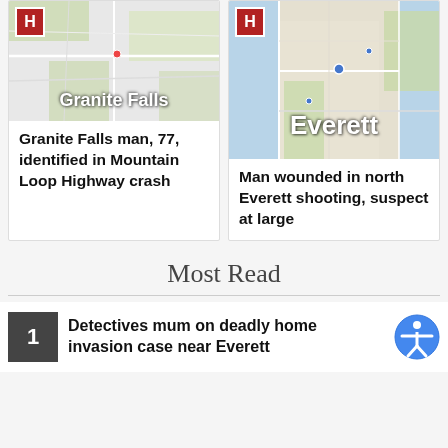[Figure (map): Map thumbnail of Granite Falls area with Herald H badge]
Granite Falls man, 77, identified in Mountain Loop Highway crash
[Figure (map): Map thumbnail of Everett area with Herald H badge]
Man wounded in north Everett shooting, suspect at large
Most Read
1 Detectives mum on deadly home invasion case near Everett